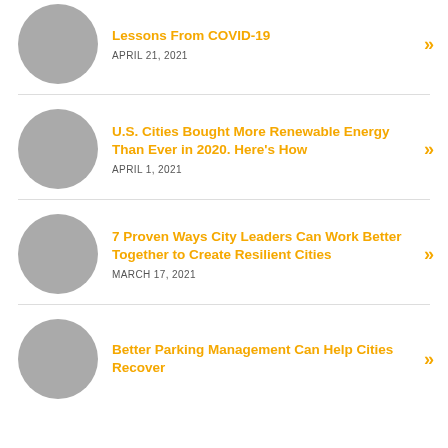Lessons From COVID-19 | APRIL 21, 2021
U.S. Cities Bought More Renewable Energy Than Ever in 2020. Here's How | APRIL 1, 2021
7 Proven Ways City Leaders Can Work Better Together to Create Resilient Cities | MARCH 17, 2021
Better Parking Management Can Help Cities Recover from COVID-19 (partial)